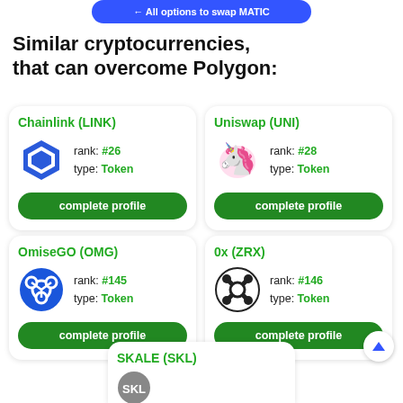← All options to swap MATIC
Similar cryptocurrencies, that can overcome Polygon:
Chainlink (LINK) rank: #26 type: Token complete profile
Uniswap (UNI) rank: #28 type: Token complete profile
OmiseGO (OMG) rank: #145 type: Token complete profile
0x (ZRX) rank: #146 type: Token complete profile
SKALE (SKL)